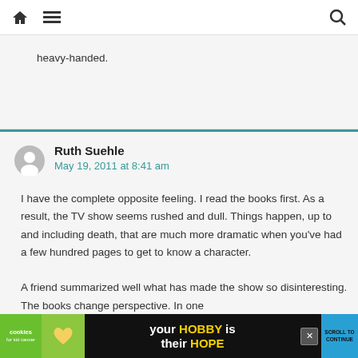Navigation bar with home icon, menu icon, and search icon
heavy-handed.
Ruth Suehle
May 19, 2011 at 8:41 am

I have the complete opposite feeling. I read the books first. As a result, the TV show seems rushed and dull. Things happen, up to and including death, that are much more dramatic when you've had a few hundred pages to get to know a character.

A friend summarized well what has made the show so disinteresting. The books change perspective. In one
[Figure (photo): Advertisement banner: cookies for kid cancer - your HOBBY is their HOPE]